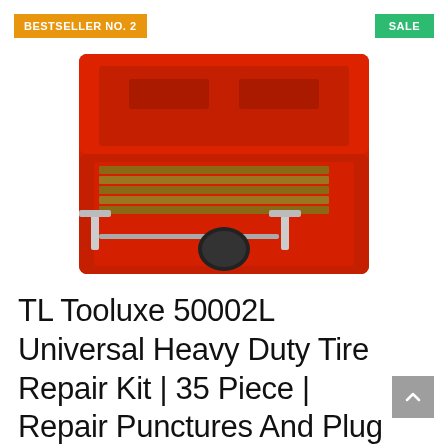BESTSELLER NO. 2
SALE
[Figure (photo): A red plastic carrying case open to reveal a tire repair kit with T-handle tools, plug strips, and a rubber cap.]
TL Tooluxe 50002L Universal Heavy Duty Tire Repair Kit | 35 Piece | Repair Punctures And Plug Flats | Automotive | ...